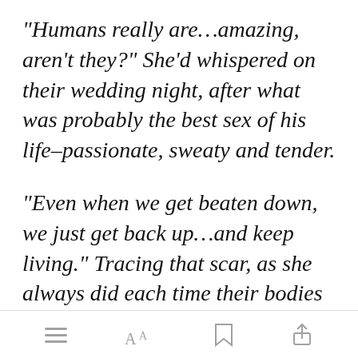“Humans really are…amazing, aren’t they?” She’d whispered on their wedding night, after what was probably the best sex of his life–passionate, sweaty and tender.
“Even when we get beaten down, we just get back up…and keep living.” Tracing that scar, as she always did each time their bodies intertwined, while he obser[Open in app]vith half-
[Figure (other): App bottom navigation bar with menu, font size, bookmark, and share icons]